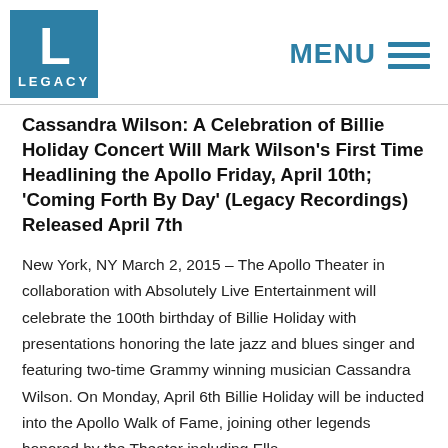LEGACY [logo]  MENU
Cassandra Wilson: A Celebration of Billie Holiday Concert Will Mark Wilson's First Time Headlining the Apollo Friday, April 10th; 'Coming Forth By Day' (Legacy Recordings) Released April 7th
New York, NY March 2, 2015 – The Apollo Theater in collaboration with Absolutely Live Entertainment will celebrate the 100th birthday of Billie Holiday with presentations honoring the late jazz and blues singer and featuring two-time Grammy winning musician Cassandra Wilson. On Monday, April 6th Billie Holiday will be inducted into the Apollo Walk of Fame, joining other legends honored by the Theater including Ella